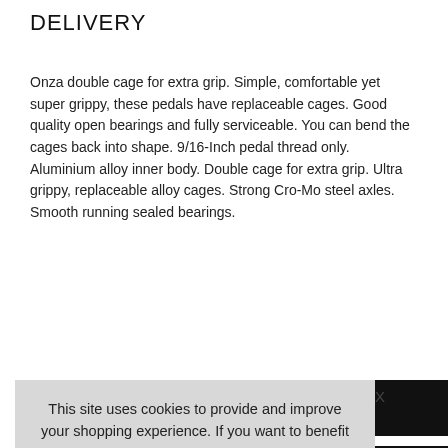DELIVERY
Onza double cage for extra grip. Simple, comfortable yet super grippy, these pedals have replaceable cages. Good quality open bearings and fully serviceable. You can bend the cages back into shape. 9/16-Inch pedal thread only. Aluminium alloy inner body. Double cage for extra grip. Ultra grippy, replaceable alloy cages. Strong Cro-Mo steel axles. Smooth running sealed bearings.
mm length by 105
This site uses cookies to provide and improve your shopping experience. If you want to benefit from this improved service, please opt-in. Cookies Page.

I opt-in to a better browsing experience

ACCEPT COOKIES